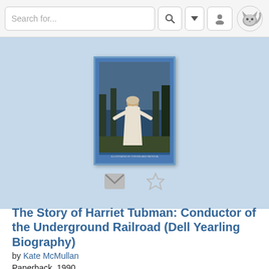[Figure (screenshot): Search bar UI with search input field, magnifier icon, dropdown arrow, user icon, and cat logo icon]
[Figure (illustration): Book cover of 'The Story of Harriet Tubman: Conductor of the Underground Railroad' showing a painted figure in white clothing among trees, with a blue border]
The Story of Harriet Tubman: Conductor of the Underground Railroad (Dell Yearling Biography)
by Kate McMullan
Paperback, 1990
Tags
8th grade Curriculum: American History, *African American, Black History, Harriet Tubman, BIOGRAPHY (921), Civil War, History Slavery, abolitionist movement, (921) BIOGRAPHY, 8th grade Reading Assignments (2016/17) ... 7 more